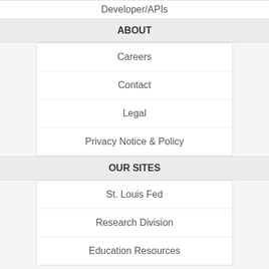Developer/APIs
ABOUT
Careers
Contact
Legal
Privacy Notice & Policy
OUR SITES
St. Louis Fed
Research Division
Education Resources
NEED HELP?
Questions or Comments
FRED Help
Filter 3